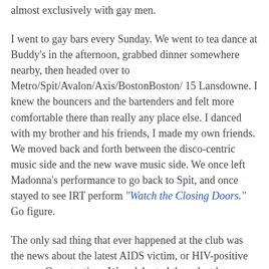almost exclusively with gay men.
I went to gay bars every Sunday. We went to tea dance at Buddy's in the afternoon, grabbed dinner somewhere nearby, then headed over to Metro/Spit/Avalon/Axis/BostonBoston/ 15 Lansdowne. I knew the bouncers and the bartenders and felt more comfortable there than really any place else. I danced with my brother and his friends, I made my own friends. We moved back and forth between the disco-centric music side and the new wave music side. We once left Madonna's performance to go back to Spit, and once stayed to see IRT perform "Watch the Closing Doors." Go figure.
The only sad thing that ever happened at the club was the news about the latest AIDS victim, or HIV-positive person. One at a time. We celebrated those lost by dancing and drinking and living and loving. Dance, drink, repeat.